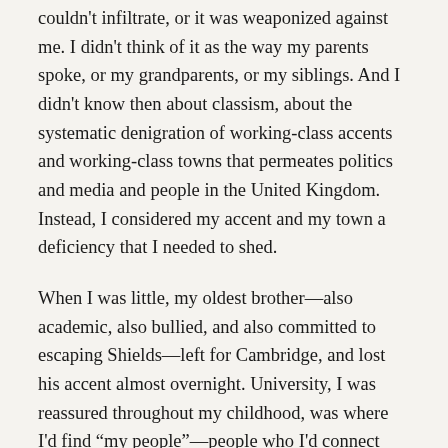couldn't infiltrate, or it was weaponized against me. I didn't think of it as the way my parents spoke, or my grandparents, or my siblings. And I didn't know then about classism, about the systematic denigration of working-class accents and working-class towns that permeates politics and media and people in the United Kingdom. Instead, I considered my accent and my town a deficiency that I needed to shed.
When I was little, my oldest brother—also academic, also bullied, and also committed to escaping Shields—left for Cambridge, and lost his accent almost overnight. University, I was reassured throughout my childhood, was where I'd find "my people"—people who I'd connect with as easily as the rest of my schoolmates seemed to connect without me. At seventeen I applied to Oxford, stammered through my interview, and spent the drive home tearfully ignoring my dad's gentle attempts at conversation,